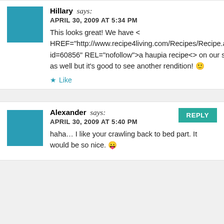Hillary says: APRIL 30, 2009 AT 5:34 PM — This looks great! We have < HREF="http://www.recipe4living.com/Recipes/Recipe.aspx?id=60856" REL="nofollow">a haupia recipe<> on our site as well but it's good to see another rendition! 🙂 ★ Like
Alexander says: APRIL 30, 2009 AT 5:40 PM — haha… I like your crawling back to bed part. It would be so nice. 😛